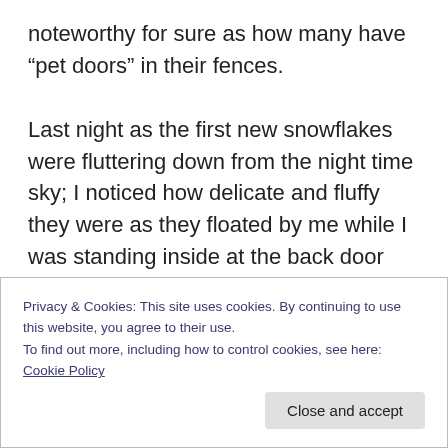noteworthy for sure as how many have “pet doors” in their fences.

Last night as the first new snowflakes were fluttering down from the night time sky; I noticed how delicate and fluffy they were as they floated by me while I was standing inside at the back door looking out the window. So beautiful, each one so different. With the appearance of a tiny pillow, a little puffy throw that would nicely cover a small bee or other such insect. So very pretty. There was only a fine layer of fresh snow on the ground and covering
Privacy & Cookies: This site uses cookies. By continuing to use this website, you agree to their use.
To find out more, including how to control cookies, see here: Cookie Policy